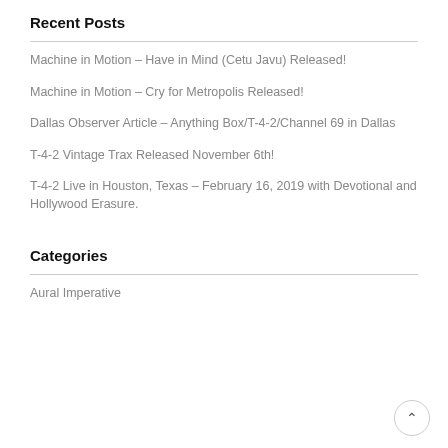Recent Posts
Machine in Motion – Have in Mind (Cetu Javu) Released!
Machine in Motion – Cry for Metropolis Released!
Dallas Observer Article – Anything Box/T-4-2/Channel 69 in Dallas
T-4-2 Vintage Trax Released November 6th!
T-4-2 Live in Houston, Texas – February 16, 2019 with Devotional and Hollywood Erasure.
Categories
Aural Imperative